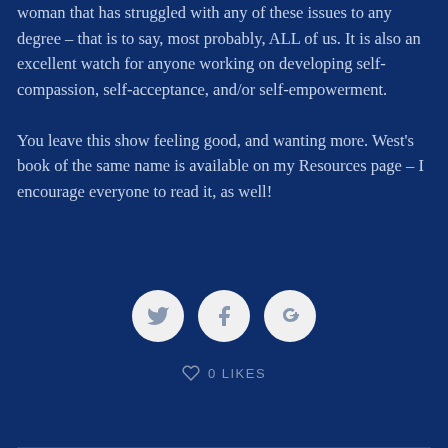woman that has struggled with any of these issues to any degree – that is to say, most probably, ALL of us. It is also an excellent watch for anyone working on developing self-compassion, self-acceptance, and/or self-empowerment.

You leave this show feeling good, and wanting more. West's book of the same name is available on my Resources page – I encourage everyone to read it, as well!
[Figure (infographic): Three circular social media icon buttons for Twitter, Facebook, and Google+]
0 LIKES